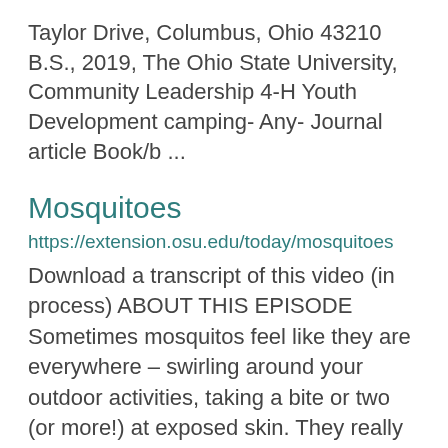Taylor Drive, Columbus, Ohio 43210 B.S., 2019, The Ohio State University, Community Leadership 4-H Youth Development camping- Any- Journal article Book/b ...
Mosquitoes
https://extension.osu.edu/today/mosquitoes Download a transcript of this video (in process) ABOUT THIS EPISODE Sometimes mosquitos feel like they are everywhere – swirling around your outdoor activities, taking a bite or two (or more!) at exposed skin. They really do like